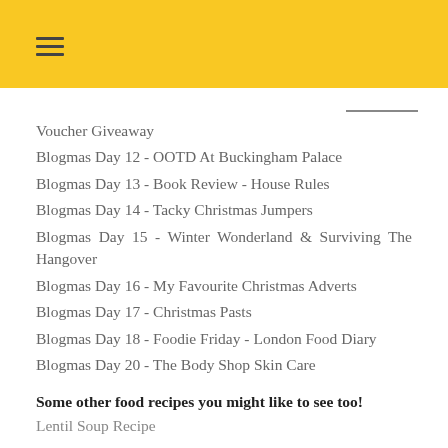☰
Voucher Giveaway
Blogmas Day 12 - OOTD At Buckingham Palace
Blogmas Day 13 - Book Review - House Rules
Blogmas Day 14 - Tacky Christmas Jumpers
Blogmas Day 15 - Winter Wonderland & Surviving The Hangover
Blogmas Day 16 - My Favourite Christmas Adverts
Blogmas Day 17 - Christmas Pasts
Blogmas Day 18 - Foodie Friday - London Food Diary
Blogmas Day 20 - The Body Shop Skin Care
Some other food recipes you might like to see too!
Lentil Soup Recipe